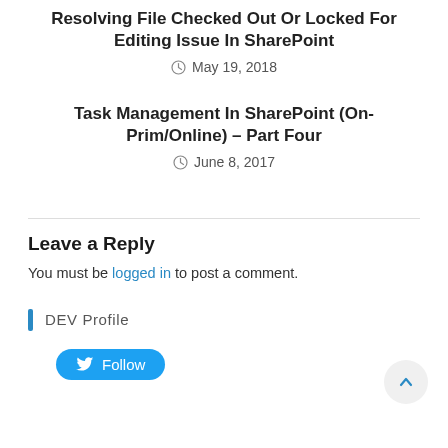Resolving File Checked Out Or Locked For Editing Issue In SharePoint
May 19, 2018
Task Management In SharePoint (On-Prim/Online) – Part Four
June 8, 2017
Leave a Reply
You must be logged in to post a comment.
DEV Profile